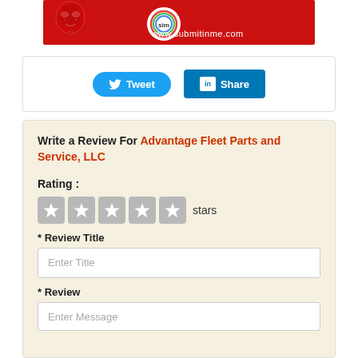[Figure (logo): Red banner with Guy Fawkes mask silhouette, SIM circular logo, and www.submitinme.com URL text]
[Figure (screenshot): Social sharing buttons: Tweet (Twitter, blue rounded) and Share (LinkedIn, teal square)]
Write a Review For Advantage Fleet Parts and Service, LLC
Rating :
[Figure (other): 5 gray star rating boxes followed by 'stars' text]
* Review Title
Enter Title
* Review
Enter Message